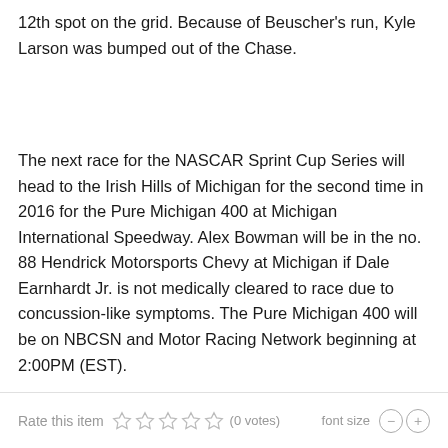12th spot on the grid. Because of Beuscher's run, Kyle Larson was bumped out of the Chase.
The next race for the NASCAR Sprint Cup Series will head to the Irish Hills of Michigan for the second time in 2016 for the Pure Michigan 400 at Michigan International Speedway. Alex Bowman will be in the no. 88 Hendrick Motorsports Chevy at Michigan if Dale Earnhardt Jr. is not medically cleared to race due to concussion-like symptoms. The Pure Michigan 400 will be on NBCSN and Motor Racing Network beginning at 2:00PM (EST).
Rate this item (0 votes) font size